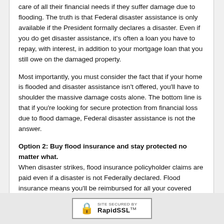care of all their financial needs if they suffer damage due to flooding. The truth is that Federal disaster assistance is only available if the President formally declares a disaster. Even if you do get disaster assistance, it's often a loan you have to repay, with interest, in addition to your mortgage loan that you still owe on the damaged property.
Most importantly, you must consider the fact that if your home is flooded and disaster assistance isn't offered, you'll have to shoulder the massive damage costs alone. The bottom line is that if you're looking for secure protection from financial loss due to flood damage, Federal disaster assistance is not the answer.
Option 2: Buy flood insurance and stay protected no matter what.
When disaster strikes, flood insurance policyholder claims are paid even if a disaster is not Federally declared. Flood insurance means you'll be reimbursed for all your covered losses. And unlike Federal aid, it never has to be repaid.
In general, a policy does not take effect until 30 days after you purchase flood insurance. So, if the weather forecast announces a flood alert for your area and you go to purchase coverage, it's already too late. You will not be insured if you buy a policy a few days before a flood.
[Figure (logo): RapidSSL site secured badge with padlock icon]